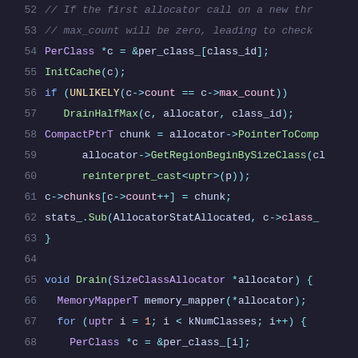[Figure (screenshot): Source code snippet showing C++ allocator/cache methods with syntax highlighting, lines 52-72. Dark background (Catppuccin Mocha theme). Lines include comments, PerClass pointer setup, InitCache, UNLIKELY check, DrainHalfMax, CompactPtrT chunk assignment, stats_.Sub call, closing brace, void Drain function, MemoryMapperT, for loop, PerClass pointer, while loop, and closing braces.]